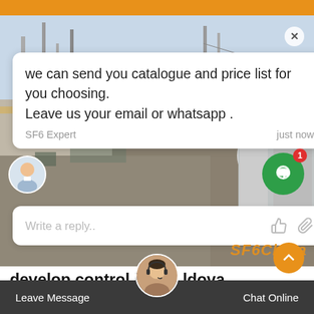[Figure (screenshot): Orange top bar of a website]
[Figure (photo): Outdoor industrial/electrical substation facility with towers, pipes, and equipment. A live chat popup overlay is shown with message: 'we can send you catalogue and price list for you choosing. Leave us your email or whatsapp.' attributed to SF6 Expert, just now. A reply input box below says 'Write a reply..' with thumbs-up and paperclip icons. SF6China watermark in orange. Notification bubble icon in green with badge showing 1.]
we can send you catalogue and price list for you choosing.
Leave us your email or whatsapp .
SF6 Expert   just now
Write a reply..
SF6China
develop control in Moldova
Oct 12, 2021Do not travel to Moldova due to COVID-19 and unresolved conflict. The Centers for Disease Control and
Leave Message   Chat Online